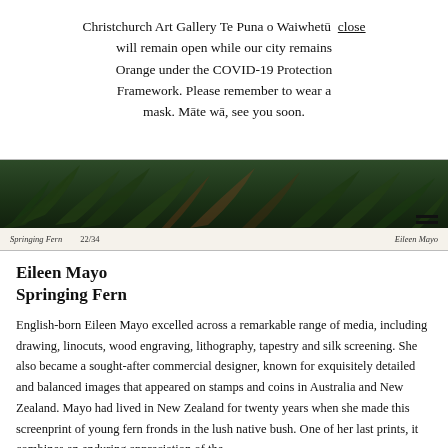Christchurch Art Gallery Te Puna o Waiwhetū will remain open while our city remains Orange under the COVID-19 Protection Framework. Please remember to wear a mask. Mā te wā, see you soon.  close
[Figure (photo): Bottom portion of artwork 'Springing Fern' by Eileen Mayo — dark green fern fronds against a deep background. Caption strip shows title 'Springing Fern', edition '22/34', and artist signature 'Eileen Mayo'.]
Eileen Mayo
Springing Fern
English-born Eileen Mayo excelled across a remarkable range of media, including drawing, linocuts, wood engraving, lithography, tapestry and silk screening. She also became a sought-after commercial designer, known for exquisitely detailed and balanced images that appeared on stamps and coins in Australia and New Zealand. Mayo had lived in New Zealand for twenty years when she made this screenprint of young fern fronds in the lush native bush. One of her last prints, it combines an enduring appreciation of the